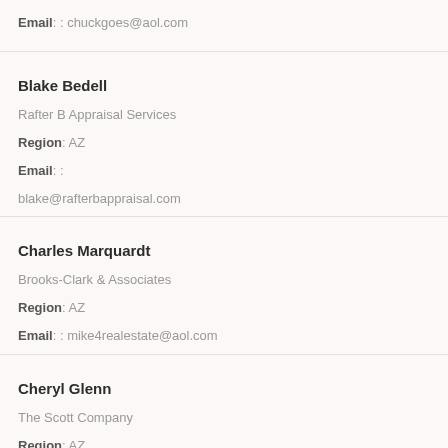Email: : chuckgoes@aol.com
Blake Bedell
Rafter B Appraisal Services
Region: AZ
Email: :
blake@rafterbappraisal.com
Charles Marquardt
Brooks-Clark & Associates
Region: AZ
Email: : mike4realestate@aol.com
Cheryl Glenn
The Scott Company
Region: AZ
Email: :
cherylglenn127@yahoo.com